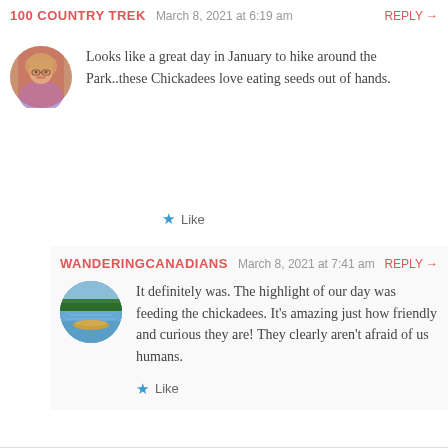100 COUNTRY TREK   March 8, 2021 at 6:19 am   REPLY →
[Figure (photo): Circular avatar photo of a woman with glasses and blonde hair in front of a red background]
Looks like a great day in January to hike around the Park..these Chickadees love eating seeds out of hands.
★ Like
WANDERINGCANADIANS   March 8, 2021 at 7:41 am   REPLY →
[Figure (photo): Circular avatar photo showing a lake with a canoe or kayak and trees]
It definitely was. The highlight of our day was feeding the chickadees. It's amazing just how friendly and curious they are! They clearly aren't afraid of us humans.
★ Like